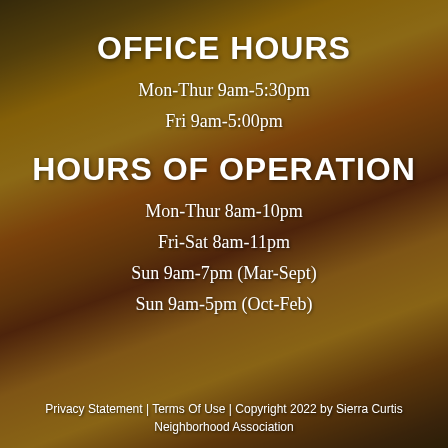[Figure (photo): Autumn fallen leaves background in yellow, orange, red tones with dark overlay]
OFFICE HOURS
Mon-Thur 9am-5:30pm
Fri 9am-5:00pm
HOURS OF OPERATION
Mon-Thur 8am-10pm
Fri-Sat 8am-11pm
Sun 9am-7pm (Mar-Sept)
Sun 9am-5pm (Oct-Feb)
Privacy Statement | Terms Of Use | Copyright 2022 by Sierra Curtis Neighborhood Association